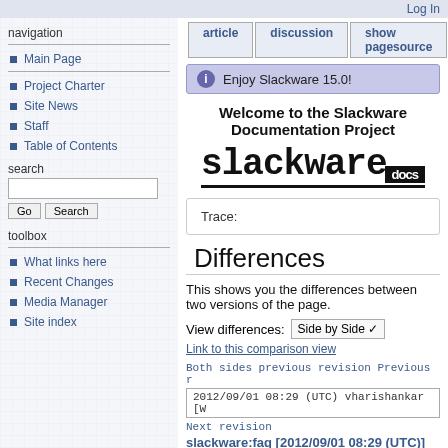Log In
article
discussion
show pagesource
Enjoy Slackware 15.0!
Welcome to the Slackware Documentation Project
[Figure (logo): Slackware docs logo in monospace font with 'docs' badge]
Trace:
Differences
This shows you the differences between two versions of the page.
View differences: Side by Side
Link to this comparison view
Both sides previous revision Previous r
2012/09/01 08:29 (UTC) vharishankar [W
Next revision
slackware:faq [2012/09/01 08:29 (UTC)]
vharishankar [Why doesn't Slackware Linux have my f
Main Page
Project Charter
Site News
Staff
Table of Contents
What links here
Recent Changes
Media Manager
Site index